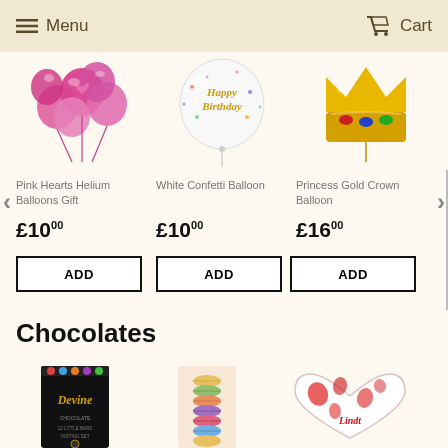Menu | Cart
[Figure (photo): Pink heart-shaped helium balloons gift bouquet]
[Figure (photo): White confetti balloon with Happy Birthday text in gold]
[Figure (photo): Princess gold crown balloon]
Pink Hearts Helium Balloons Gift
White Confetti Balloon
Princess Gold Crown Balloon
£10.00
£10.00
£16.00
ADD
ADD
ADD
Chocolates
[Figure (photo): Divine Chocolate 12 Little Bars Tasting Set - dark packaging]
[Figure (photo): Box of macarons in pastel packaging]
[Figure (photo): Lindt heart-shaped chocolate box with red and white design]